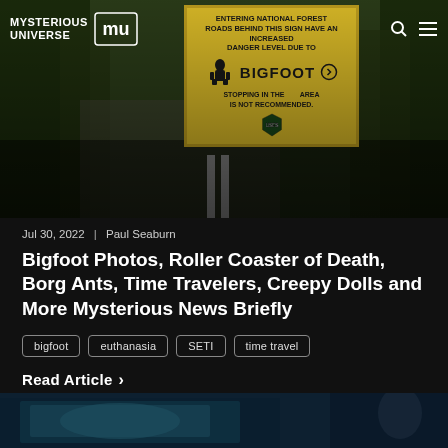[Figure (photo): Hero image showing a yellow Bigfoot warning sign along a forest road. Sign reads 'ROADS BEHIND THIS SIGN HAVE AN INCREASED DANGER LEVEL DUE TO BIGFOOT. STOPPING IN THE AREA IS NOT RECOMMENDED.' with a Bigfoot silhouette icon and a US Forest Service shield emblem.]
MYSTERIOUS UNIVERSE
Jul 30, 2022  |  Paul Seaburn
Bigfoot Photos, Roller Coaster of Death, Borg Ants, Time Travelers, Creepy Dolls and More Mysterious News Briefly
bigfoot
euthanasia
SETI
time travel
Read Article ›
[Figure (photo): Partial bottom image showing what appears to be a teal/blue-toned photograph, partially visible at the bottom of the page.]